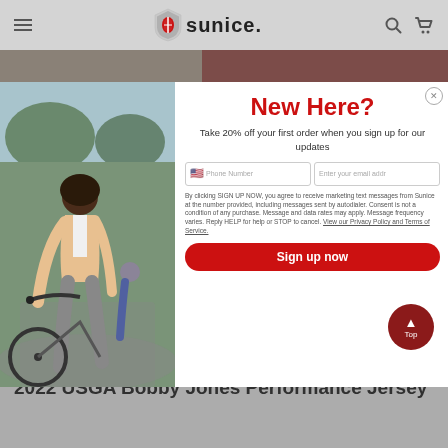sunice.
[Figure (screenshot): Sunice website screenshot with popup modal. Left side shows a woman riding a bicycle outdoors. Right side shows a white modal panel with 'New Here?' promotion offering 20% off first order with email/phone signup form. Background shows product image. Bottom shows product SKU and title.]
New Here?
Take 20% off your first order when you sign up for our updates
By clicking SIGN UP NOW, you agree to receive marketing text messages from Sunice at the number provided, including messages sent by autodialer. Consent is not a condition of any purchase. Message and data rates may apply. Message frequency varies. Reply HELP for help or STOP to cancel. View our Privacy Policy and Terms of Service.
Sign up now
US230050A22 CARE S
2022 USGA Bobby Jones Performance Jersey